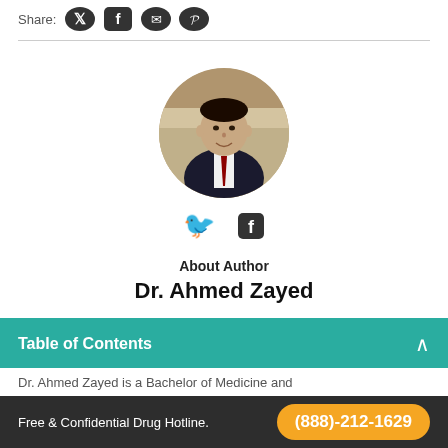Share:
[Figure (illustration): Social share icons: Twitter, Facebook, messaging, Pinterest]
[Figure (photo): Circular headshot photo of Dr. Ahmed Zayed in a suit with red tie]
[Figure (illustration): Twitter and Facebook social icons]
About Author
Dr. Ahmed Zayed
Table of Contents
Dr. Ahmed Zayed is a Bachelor of Medicine and
Free & Confidential Drug Hotline.
(888)-212-1629